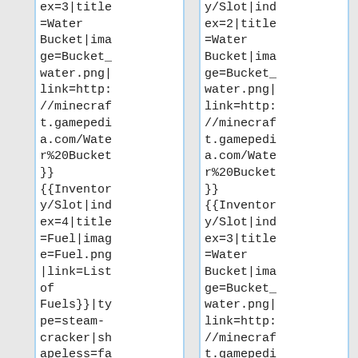ex=3|title=Water Bucket|image=Bucket_water.png|link=http://minecraf t.gamepedia.com/Water%20Bucket}}{{Inventory/Slot|index=4|title=Fuel|image=Fuel.png|link=List of Fuels}}|type=steam-cracker|shapeless=fa
y/Slot|index=2|title=Water Bucket|image=Bucket_water.png|link=http://minecraf t.gamepedia.com/Water%20Bucket}}{{Inventory/Slot|index=3|title=Water Bucket|image=Bucket_water.png|link=http://minecraf t.gamepedi